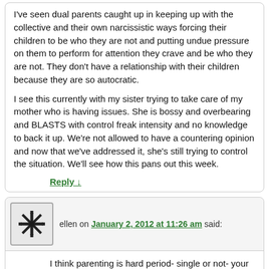I've seen dual parents caught up in keeping up with the collective and their own narcissistic ways forcing their children to be who they are not and putting undue pressure on them to perform for attention they crave and be who they are not. They don't have a relationship with their children because they are so autocratic.
I see this currently with my sister trying to take care of my mother who is having issues. She is bossy and overbearing and BLASTS with control freak intensity and no knowledge to back it up. We're not allowed to have a countering opinion and now that we've addressed it, she's still trying to control the situation. We'll see how this pans out this week.
Reply ↓
ellen on January 2, 2012 at 11:26 am said:
I think parenting is hard period- single or not- your at some point going to be the bad guy no matter how hard you try.
I can relate since my 8yr old was having serious issues this yr and my 11 yr old got left out- and felt so- but in some respects I think it was good for him to see that he needed to just take care of stuff himself.
These days i make a point to spend quality time with both boys and let them know although mom has to work and sometimes give the